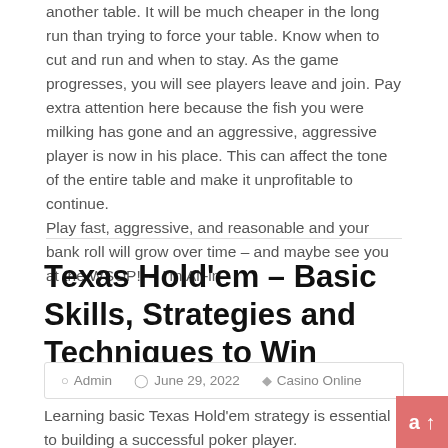another table. It will be much cheaper in the long run than trying to force your table. Know when to cut and run and when to stay. As the game progresses, you will see players leave and join. Pay extra attention here because the fish you were milking has gone and an aggressive, aggressive player is now in his place. This can affect the tone of the entire table and make it unprofitable to continue.
Play fast, aggressive, and reasonable and your bank roll will grow over time – and maybe see you at the WSOP!! – I'm All-in
Texas Hold'em – Basic Skills, Strategies and Techniques to Win
Admin   June 29, 2022   Casino Online
Learning basic Texas Hold'em strategy is essential to building a successful poker player.